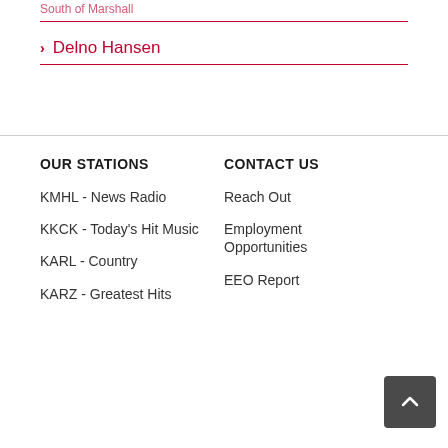South of Marshall
Delno Hansen
OUR STATIONS
CONTACT US
KMHL - News Radio
Reach Out
KKCK - Today's Hit Music
Employment Opportunities
KARL - Country
EEO Report
KARZ - Greatest Hits